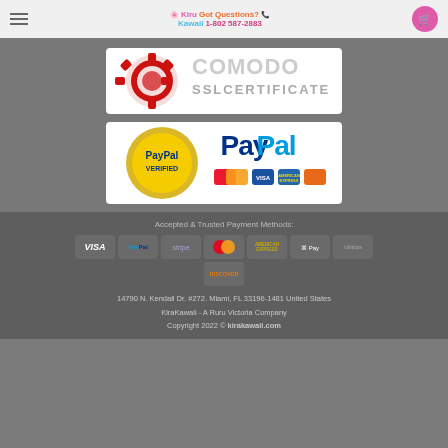Kira Kawaii | Got Questions? 1-802 587-2883
[Figure (logo): Comodo SSL Certificate badge with red gear icon and COMODO SSL CERTIFICATE text]
[Figure (logo): PayPal Verified seal with PayPal logo and credit card icons (Mastercard, Visa, Amex, Discover)]
Accepted & Trusted Payment Methods:
[Figure (infographic): Payment method icons: VISA, PayPal, stripe, MasterCard, American Express, Apple Pay, bitcoin, Discover]
14790 N. Kendall Dr. #272. Miami, FL 33196-1481 United States
KiraKawaii - A Ruru Victoria Company
Copyright 2022 © kirakawaii.com